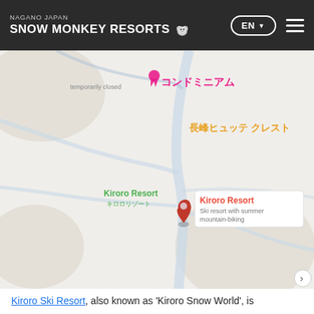NAGANO JAPAN SNOW MONKEY RESORTS
[Figure (map): Google Maps screenshot showing Kiroro Resort location in Japan. Map displays terrain with river/roads, a red location pin for Kiroro Resort with popup label 'Kiroro Resort - Ski resort with summer mountain-biking', green text 'Kiroro Resort キロロリゾート', orange/yellow Japanese text '長峰ヒュッテ クレスト', pink Japanese text 'コンドミニアム', and gray text 'temporarily closed'.]
Kiroro Ski Resort, also known as 'Kiroro Snow World', is